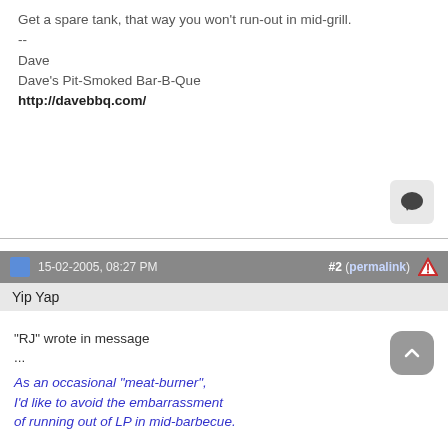Get a spare tank, that way you won't run-out in mid-grill.
--
Dave
Dave's Pit-Smoked Bar-B-Que
http://davebbq.com/
15-02-2005, 08:27 PM
#2 (permalink)
Yip Yap
"RJ" wrote in message
...
As an occasional "meat-burner", I'd like to avoid the embarrassment of running out of LP in mid-barbecue.